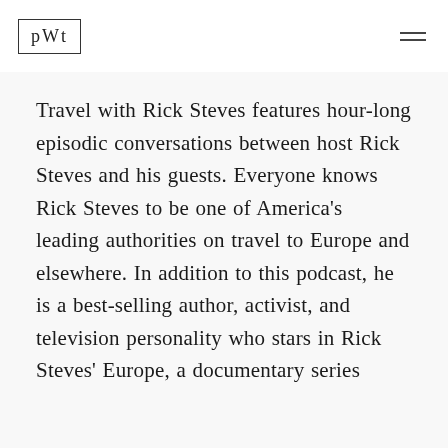PWT
Travel with Rick Steves features hour-long episodic conversations between host Rick Steves and his guests. Everyone knows Rick Steves to be one of America's leading authorities on travel to Europe and elsewhere. In addition to this podcast, he is a best-selling author, activist, and television personality who stars in Rick Steves' Europe, a documentary series